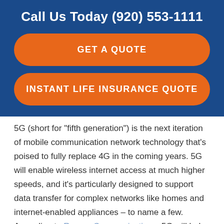Call Us Today (920) 553-1111
GET A QUOTE
INSTANT LIFE INSURANCE QUOTE
5G (short for "fifth generation") is the next iteration of mobile communication network technology that's poised to fully replace 4G in the coming years. 5G will enable wireless internet access at much higher speeds, and it's particularly designed to support data transfer for complex networks like homes and internet-enabled appliances – to name a few. According to Rogers Communications, 5G will help